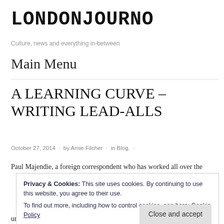LONDONJOURNO
Culture, news and everything in-between
Main Menu
A LEARNING CURVE – WRITING LEAD-ALLS
October 27, 2014 · by Amie Filcher · in Blog ·
Paul Majendie, a foreign correspondent who has worked all over the
Privacy & Cookies: This site uses cookies. By continuing to use this website, you agree to their use. To find out more, including how to control cookies, see here: Cookie Policy
Close and accept
unless you're sucking it all up".